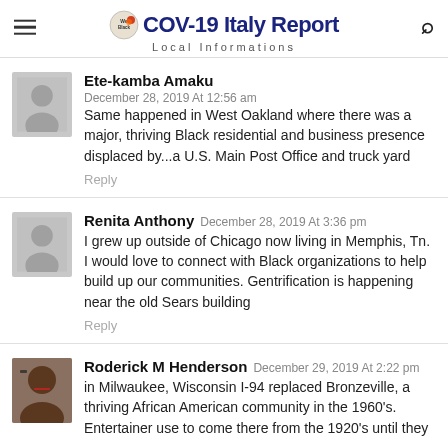COV-19 Italy Report — Local Informations
Ete-kamba Amaku
December 28, 2019 At 12:56 am
Same happened in West Oakland where there was a major, thriving Black residential and business presence displaced by...a U.S. Main Post Office and truck yard
Reply
Renita Anthony December 28, 2019 At 3:36 pm
I grew up outside of Chicago now living in Memphis, Tn. I would love to connect with Black organizations to help build up our communities. Gentrification is happening near the old Sears building
Reply
Roderick M Henderson December 29, 2019 At 2:22 pm
in Milwaukee, Wisconsin I-94 replaced Bronzeville, a thriving African American community in the 1960's. Entertainer use to come there from the 1920's until they